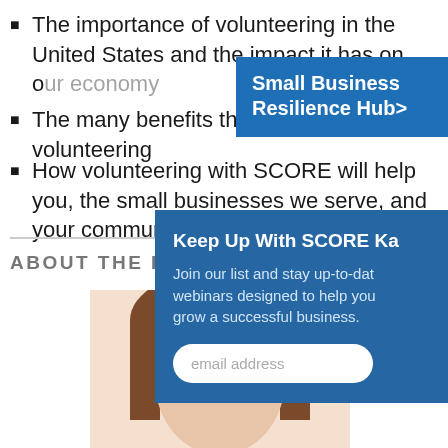The importance of volunteering in the United States and the impact it has on our economy
The many benefits that come with volunteering
How volunteering with SCORE will help you, the small businesses we serve, and your community!
[Figure (infographic): Blue box overlay: Small Business Resilience Hub>]
ABOUT THE PRESENTER
[Figure (photo): Woman with brown hair, cropped to show forehead and eyes]
[Figure (infographic): Blue popup box: Keep Up With SCORE Ka... Join our list and stay up-to-date on webinars designed to help you grow a successful business. email address input field.]